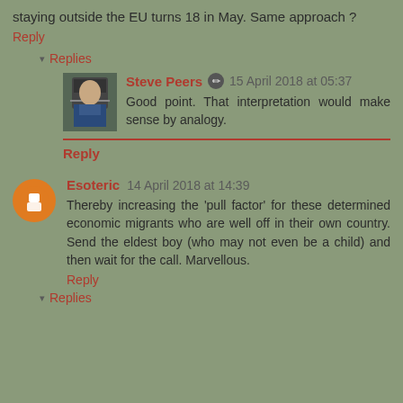staying outside the EU turns 18 in May. Same approach ?
Reply
Replies
Steve Peers  15 April 2018 at 05:37
Good point. That interpretation would make sense by analogy.
Reply
Esoteric  14 April 2018 at 14:39
Thereby increasing the 'pull factor' for these determined economic migrants who are well off in their own country. Send the eldest boy (who may not even be a child) and then wait for the call. Marvellous.
Reply
Replies